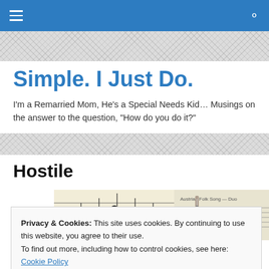Navigation bar with hamburger menu and search icon
Simple. I Just Do.
I'm a Remarried Mom, He's a Special Needs Kid… Musings on the answer to the question, "How do you do it?"
Hostile
[Figure (photo): A photo showing sheet music with musical notes and what appears to be a flute or recorder instrument alongside printed music pages.]
Privacy & Cookies: This site uses cookies. By continuing to use this website, you agree to their use.
To find out more, including how to control cookies, see here: Cookie Policy
Close and accept